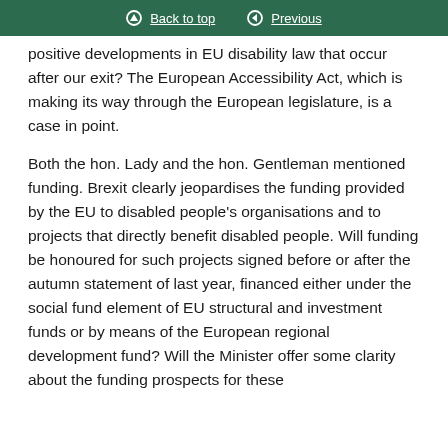Back to top | Previous
positive developments in EU disability law that occur after our exit? The European Accessibility Act, which is making its way through the European legislature, is a case in point.
Both the hon. Lady and the hon. Gentleman mentioned funding. Brexit clearly jeopardises the funding provided by the EU to disabled people’s organisations and to projects that directly benefit disabled people. Will funding be honoured for such projects signed before or after the autumn statement of last year, financed either under the social fund element of EU structural and investment funds or by means of the European regional development fund? Will the Minister offer some clarity about the funding prospects for these